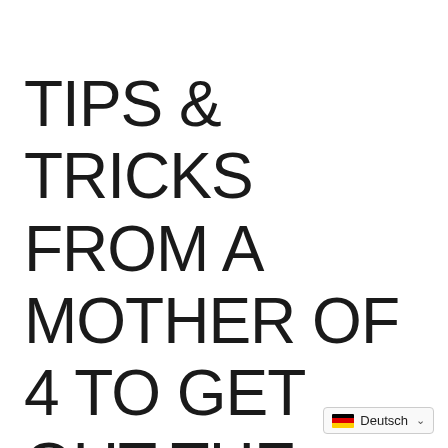TIPS & TRICKS FROM A MOTHER OF 4 TO GET OUT THE DOOR IN THE MORNING
Deutsch